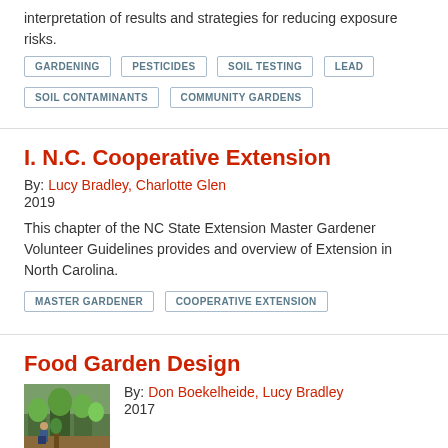interpretation of results and strategies for reducing exposure risks.
GARDENING
PESTICIDES
SOIL TESTING
LEAD
SOIL CONTAMINANTS
COMMUNITY GARDENS
I. N.C. Cooperative Extension
By: Lucy Bradley, Charlotte Glen
2019
This chapter of the NC State Extension Master Gardener Volunteer Guidelines provides and overview of Extension in North Carolina.
MASTER GARDENER
COOPERATIVE EXTENSION
Food Garden Design
By: Don Boekelheide, Lucy Bradley
2017
[Figure (photo): People working in a community food garden with green plants and raised beds.]